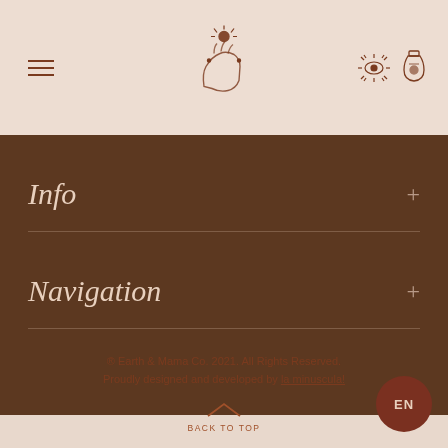[Figure (logo): Website header with hamburger menu icon on left, decorative hand holding star/celestial orb logo in center, eye icon and potion bottle icon on right, on cream/beige background]
Info
Navigation
® Earth & Mama Co. 2021. All Rights Reserved.
Proudly designed and developed by la minuscula!
BACK TO TOP
EN